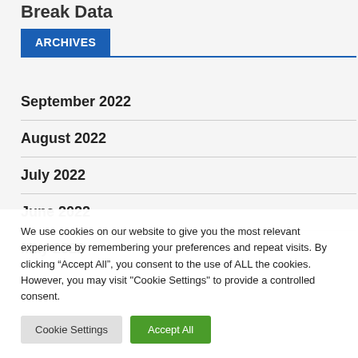Break Data
ARCHIVES
September 2022
August 2022
July 2022
June 2022
May 2022
We use cookies on our website to give you the most relevant experience by remembering your preferences and repeat visits. By clicking “Accept All”, you consent to the use of ALL the cookies. However, you may visit "Cookie Settings" to provide a controlled consent.
Cookie Settings | Accept All